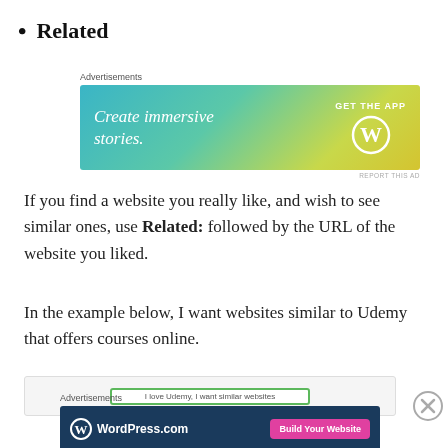Related
[Figure (screenshot): Advertisements banner: 'Create immersive stories. GET THE APP' with WordPress logo, blue-green-yellow gradient background]
If you find a website you really like, and wish to see similar ones, use Related: followed by the URL of the website you liked.
In the example below, I want websites similar to Udemy that offers courses online.
[Figure (screenshot): Partial screenshot showing a search input field with text 'I love Udemy, I want similar websites']
[Figure (screenshot): Advertisements banner: WordPress.com 'Build Your Website' button on dark blue background]